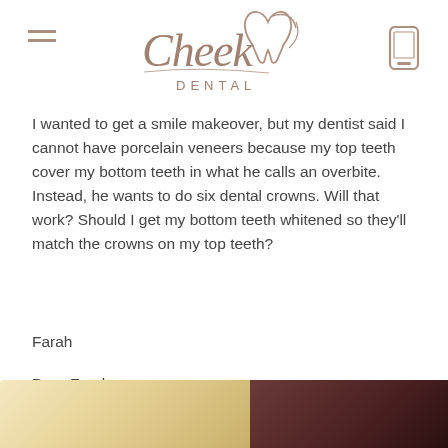[Figure (logo): Cheek Dental logo with stylized script text and tooth icon in taupe/brown color]
I wanted to get a smile makeover, but my dentist said I cannot have porcelain veneers because my top teeth cover my bottom teeth in what he calls an overbite. Instead, he wants to do six dental crowns. Will that work? Should I get my bottom teeth whitened so they'll match the crowns on my top teeth?
Farah
Dear Farah,
[Figure (photo): Two partially visible photos at the bottom of the page — left shows teeth/dental image with warm yellow tones, right shows a darker image]